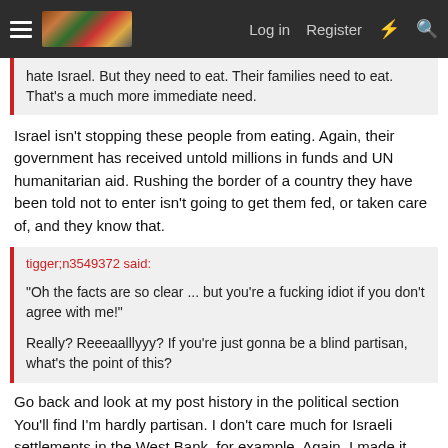Log in  Register
hate Israel. But they need to eat. Their families need to eat. That's a much more immediate need.
Israel isn't stopping these people from eating. Again, their government has received untold millions in funds and UN humanitarian aid. Rushing the border of a country they have been told not to enter isn't going to get them fed, or taken care of, and they know that.
tigger;n3549372 said:
"Oh the facts are so clear ... but you're a fucking idiot if you don't agree with me!"
Really? Reeeaalllyyy? If you're just gonna be a blind partisan, what's the point of this?
Go back and look at my post history in the political section You'll find I'm hardly partisan. I don't care much for Israeli settlements in the West Bank, for example. Again, I made it pretty clear